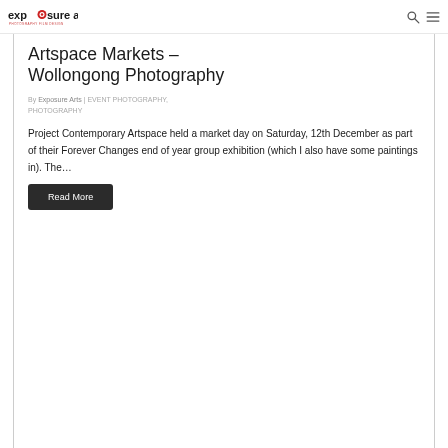exposure arts — PHOTOGRAPHY FILM DESIGN
Artspace Markets – Wollongong Photography
By Exposure Arts | EVENT PHOTOGRAPHY, PHOTOGRAPHY
Project Contemporary Artspace held a market day on Saturday, 12th December as part of their Forever Changes end of year group exhibition (which I also have some paintings in). The…
Read More